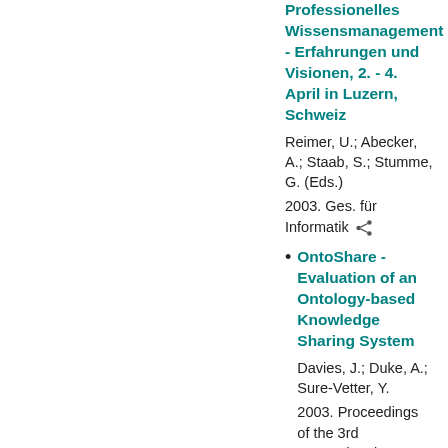Professionelles Wissensmanagement - Erfahrungen und Visionen, 2. - 4. April in Luzern, Schweiz
Reimer, U.; Abecker, A.; Staab, S.; Stumme, G. (Eds.)
2003. Ges. für Informatik
OntoShare - Evaluation of an Ontology-based Knowledge Sharing System
Davies, J.; Duke, A.; Sure-Vetter, Y.
2003. Proceedings of the 3rd International Conference on Knowledge Management (k...